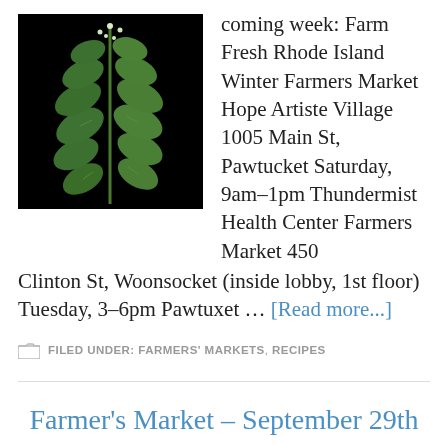[Figure (photo): Photo of a green herb plant (mint/oregano) with small white flowers on a black background]
coming week: Farm Fresh Rhode Island Winter Farmers Market Hope Artiste Village 1005 Main St, Pawtucket Saturday, 9am–1pm Thundermist Health Center Farmers Market 450 Clinton St, Woonsocket (inside lobby, 1st floor) Tuesday, 3–6pm Pawtuxet … [Read more...]
FILED UNDER: FARMERS' MARKETS, RECIPES
Farmer's Market – September 29th
SEPTEMBER 26, 2014   BY   BLUE SKYS FARM